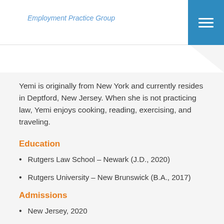Employment Practice Group
Yemi is originally from New York and currently resides in Deptford, New Jersey.  When she is not practicing law, Yemi enjoys cooking, reading, exercising, and traveling.
Education
Rutgers Law School – Newark (J.D., 2020)
Rutgers University – New Brunswick (B.A., 2017)
Admissions
New Jersey, 2020